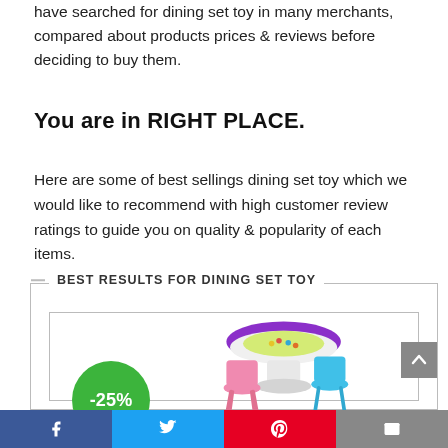have searched for dining set toy in many merchants, compared about products prices & reviews before deciding to buy them.
You are in RIGHT PLACE.
Here are some of best sellings dining set toy which we would like to recommend with high customer review ratings to guide you on quality & popularity of each items.
BEST RESULTS FOR DINING SET TOY
[Figure (photo): Product image of a children's toy dining set with a round purple-lidded table and pink and blue chairs, with a -25% discount badge in green circle]